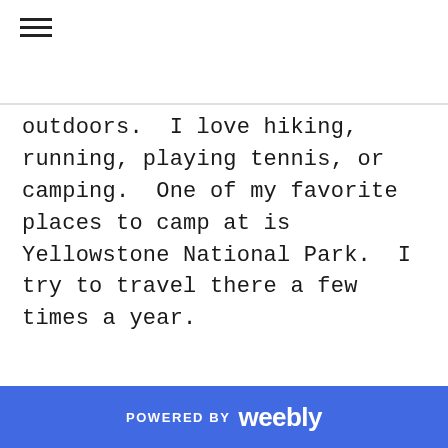outdoors.  I love hiking, running, playing tennis, or camping.  One of my favorite places to camp at is Yellowstone National Park.  I try to travel there a few times a year.
Archives
POWERED BY weebly